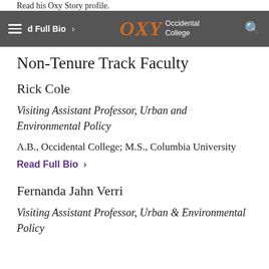Read his Oxy Story profile.
Read Full Bio > OXY Occidental College [search icon]
Non-Tenure Track Faculty
Rick Cole
Visiting Assistant Professor, Urban and Environmental Policy
A.B., Occidental College; M.S., Columbia University
Read Full Bio >
Fernanda Jahn Verri
Visiting Assistant Professor, Urban & Environmental Policy